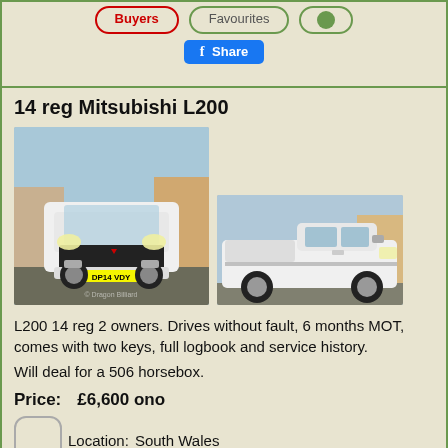[Figure (screenshot): Top navigation bar with Buyers, Favourites, and share icon buttons, plus a Facebook Share button below]
14 reg Mitsubishi L200
[Figure (photo): Front view of white Mitsubishi L200 pickup truck with registration plate DP14 VDY]
[Figure (photo): Side view of white Mitsubishi L200 pickup truck]
L200 14 reg 2 owners. Drives without fault, 6 months MOT, comes with two keys, full logbook and service history.
Will deal for a 506 horsebox.
Price:    £6,600 ono
Location:   South Wales
Contact:   Brian